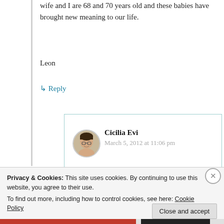wife and I are 68 and 70 years old and these babies have brought new meaning to our life.
Leon
↳ Reply
Cicilia Evi
March 5, 2012 at 11:06 pm
Privacy & Cookies: This site uses cookies. By continuing to use this website, you agree to their use.
To find out more, including how to control cookies, see here: Cookie Policy
Close and accept